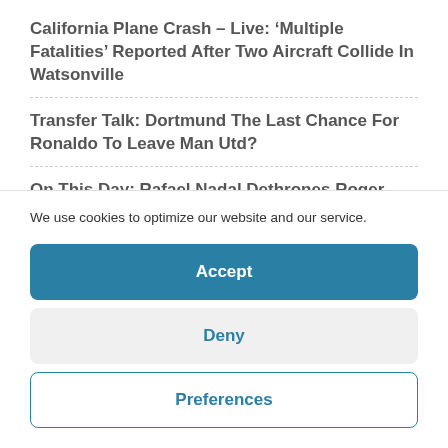California Plane Crash – Live: ‘Multiple Fatalities’ Reported After Two Aircraft Collide In Watsonville
Transfer Talk: Dortmund The Last Chance For Ronaldo To Leave Man Utd?
On This Day: Rafael Nadal Dethrones Roger Federer And
We use cookies to optimize our website and our service.
Accept
Deny
Preferences